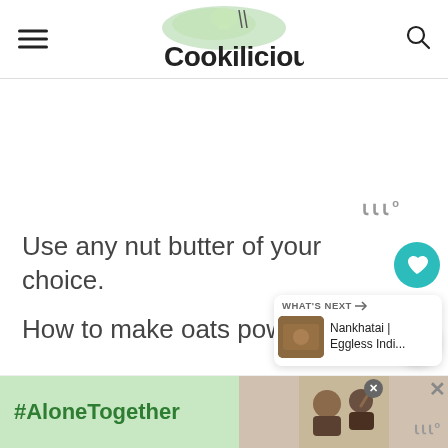Cookilicious
[Figure (logo): Cookilicious logo with green watercolor chef hat and stylized text]
Use any nut butter of your choice.
How to make oats powder
[Figure (infographic): What's Next panel showing Nankhatai | Eggless Indi... with thumbnail]
[Figure (screenshot): Ad banner with #AloneTogether text and photo of people video calling]